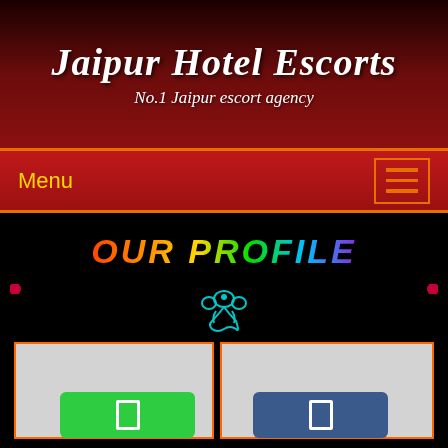Jaipur Hotel Escorts
No.1 Jaipur escort agency
Menu
OUR PROFILE
[Figure (photo): Loading/placeholder image box left]
[Figure (photo): Loading/placeholder image box right]
[Figure (other): Green button with icon]
[Figure (other): Blue button with icon]